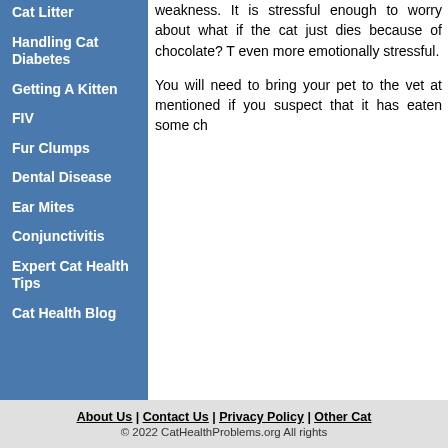Cat Litter
Handling Cat Diabetes
Getting A Kitten
FIV
Fur Clumps
Dental Disease
Ear Mites
Conjunctivitis
Expert Cat Health Tips
Cat Health Blog
weakness. It is stressful enough to worry about what if the cat just dies because of chocolate? That is even more emotionally stressful.
You will need to bring your pet to the vet at the mentioned if you suspect that it has eaten some ch...
About Us | Contact Us | Privacy Policy | Other Cat
© 2022 CatHealthProblems.org All rights